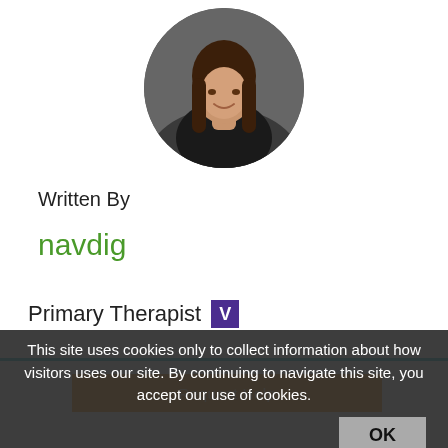[Figure (photo): Circular profile photo of a woman with long dark hair, wearing a black top, smiling, against a dark background.]
Written By
navdig
Primary Therapist V
[Figure (other): Orange button labeled 'Request Help']
This site uses cookies only to collect information about how visitors uses our site. By continuing to navigate this site, you accept our use of cookies.